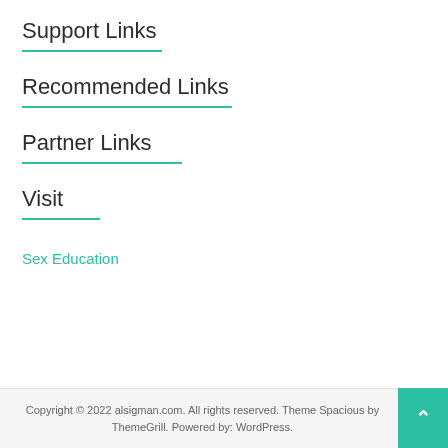Support Links
Recommended Links
Partner Links
Visit
Sex Education
Copyright © 2022 alsigman.com. All rights reserved. Theme Spacious by ThemeGrill. Powered by: WordPress.